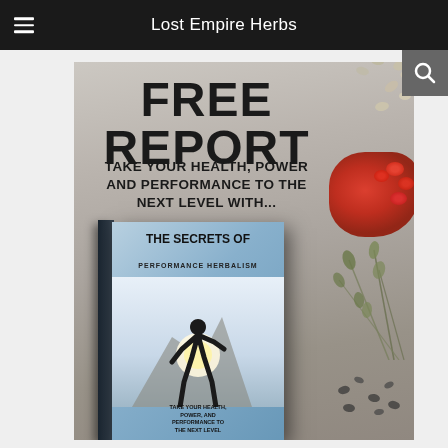Lost Empire Herbs
[Figure (illustration): Promotional image for a free report titled 'The Secrets of Performance Herbalism' by Lost Empire Herbs. Large bold text reads FREE REPORT at top, followed by TAKE YOUR HEALTH, POWER AND PERFORMANCE TO THE NEXT LEVEL WITH... A 3D book cover is shown in the lower portion with a silhouette of a climbing person and dried herbs visible in the background.]